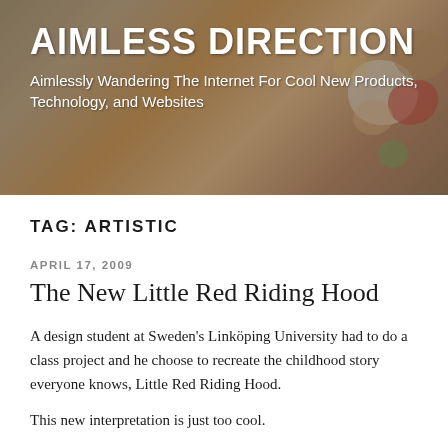AIMLESS DIRECTION
Aimlessly Wandering The Internet For Cool New Products, Technology, and Websites
TAG: ARTISTIC
APRIL 17, 2009
The New Little Red Riding Hood
A design student at Sweden's Linköping University had to do a class project and he choose to recreate the childhood story everyone knows, Little Red Riding Hood.
This new interpretation is just too cool.
The way everything is dissected was a really fun idea for this video. Furthermore, how...